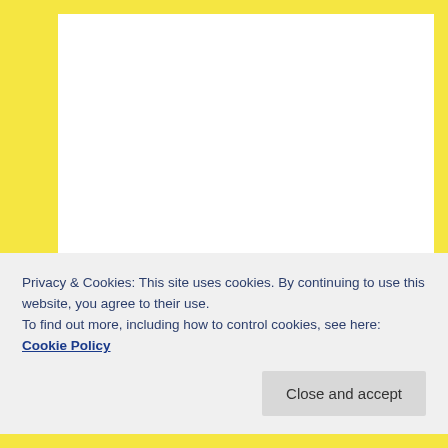Military OneSource has a dedicated page to help keep you up to date on this rapidly evolving
Privacy & Cookies: This site uses cookies. By continuing to use this website, you agree to their use.
To find out more, including how to control cookies, see here: Cookie Policy
Close and accept